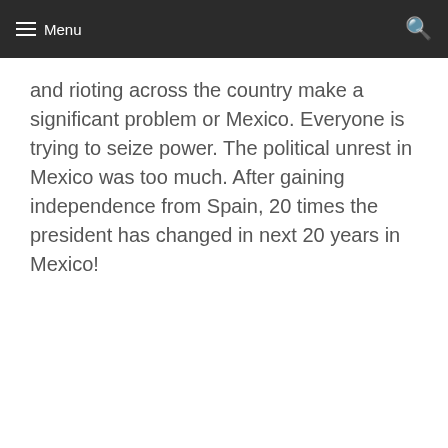Menu
and rioting across the country make a significant problem or Mexico. Everyone is trying to seize power. The political unrest in Mexico was too much. After gaining independence from Spain, 20 times the president has changed in next 20 years in Mexico!